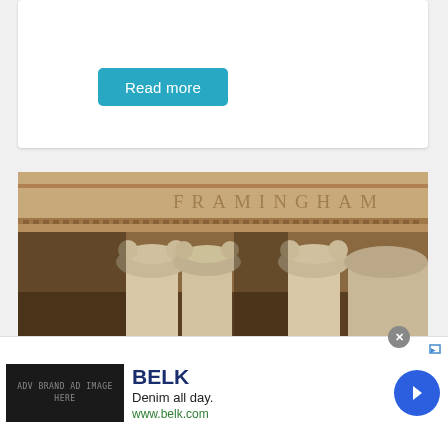Read more
[Figure (photo): Photograph of a classical stone building facade with large Ionic columns and 'FRAMINGHAM' engraved on the entablature.]
Framingham Economic Development and Industrial Corporation (EDIC)
[Figure (other): Advertisement banner for BELK with dark thumbnail image on the left, BELK brand name in navy bold text, tagline 'Denim all day.' and URL 'www.belk.com', with a blue circular next arrow button on the right.]